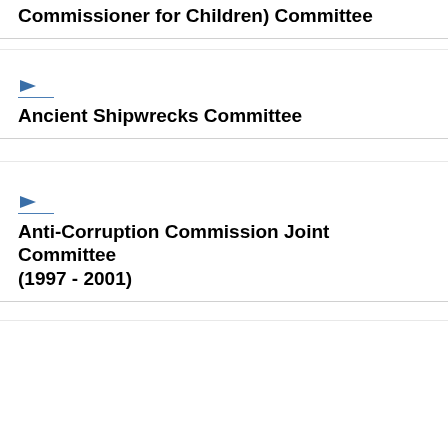Advocacy for Children (Appointment of a Commissioner for Children) Committee
Ancient Shipwrecks Committee
Anti-Corruption Commission Joint Committee (1997 - 2001)